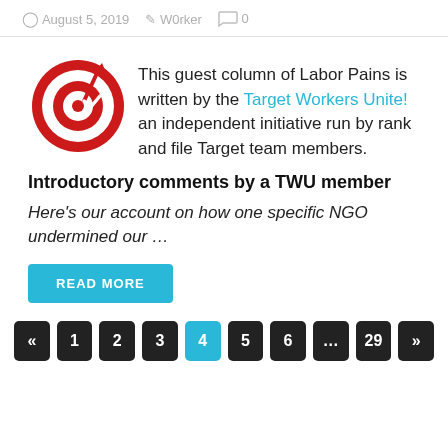August 5, 2019   W0rker   0
[Figure (logo): Target Workers Unite red bullseye logo with checkmark arrow]
This guest column of Labor Pains is written by the Target Workers Unite! an independent initiative run by rank and file Target team members.
Introductory comments by a TWU member
Here’s our account on how one specific NGO undermined our …
READ MORE
«  1  2  3  4  5  6  …  29  »